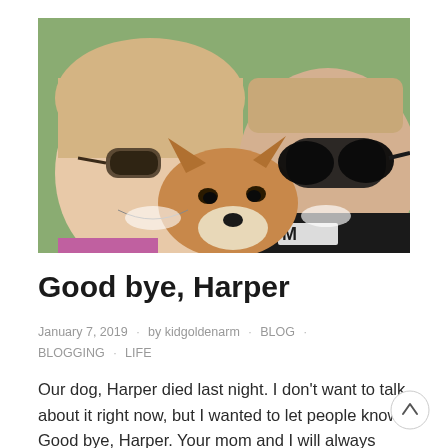[Figure (photo): Selfie photo of two smiling people wearing sunglasses with a dog (Shiba Inu or similar breed) in between them, outdoors with green background.]
Good bye, Harper
January 7, 2019 · by kidgoldenarm · BLOG · BLOGGING · LIFE
Our dog, Harper died last night. I don't want to talk about it right now, but I wanted to let people know. Good bye, Harper. Your mom and I will always love